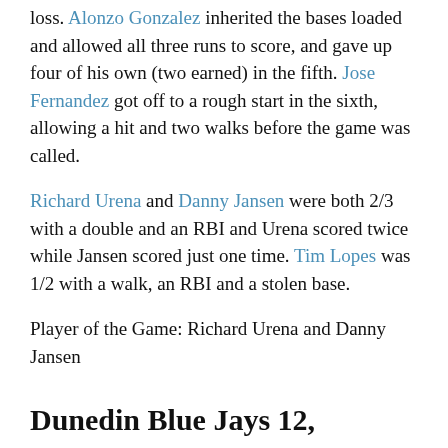loss. Alonzo Gonzalez inherited the bases loaded and allowed all three runs to score, and gave up four of his own (two earned) in the fifth. Jose Fernandez got off to a rough start in the sixth, allowing a hit and two walks before the game was called.
Richard Urena and Danny Jansen were both 2/3 with a double and an RBI and Urena scored twice while Jansen scored just one time. Tim Lopes was 1/2 with a walk, an RBI and a stolen base.
Player of the Game: Richard Urena and Danny Jansen
Dunedin Blue Jays 12,